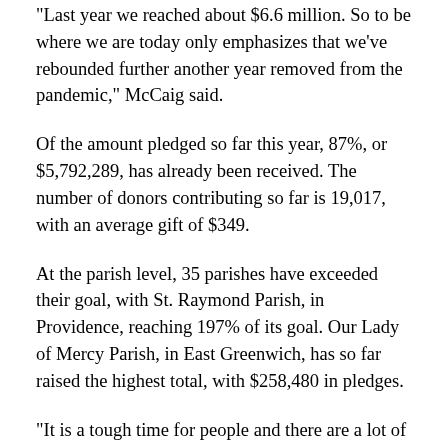“Last year we reached about $6.6 million. So to be where we are today only emphasizes that we’ve rebounded further another year removed from the pandemic,” McCaig said.
Of the amount pledged so far this year, 87%, or $5,792,289, has already been received. The number of donors contributing so far is 19,017, with an average gift of $349.
At the parish level, 35 parishes have exceeded their goal, with St. Raymond Parish, in Providence, reaching 197% of its goal. Our Lady of Mercy Parish, in East Greenwich, has so far raised the highest total, with $258,480 in pledges.
“It is a tough time for people and there are a lot of demands on their money, but they’ve chosen to support this program which will go a long way in helping people throughout the next year,” McCaig said.